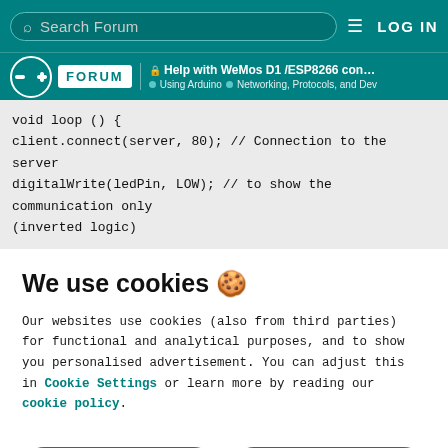Search Forum | LOG IN
FORUM | Help with WeMos D1 /ESP8266 connecting ... | Using Arduino | Networking, Protocols, and Dev
void loop () {
client.connect(server, 80); // Connection to the server
digitalWrite(ledPin, LOW); // to show the communication only (inverted logic)
We use cookies 🍪
Our websites use cookies (also from third parties) for functional and analytical purposes, and to show you personalised advertisement. You can adjust this in Cookie Settings or learn more by reading our cookie policy.
ONLY REQUIRED
ACCEPT ALL